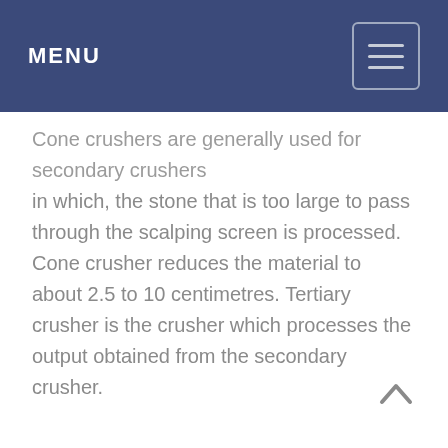MENU
Cone crushers are generally used for secondary crushers in which, the stone that is too large to pass through the scalping screen is processed. Cone crusher reduces the material to about 2.5 to 10 centimetres. Tertiary crusher is the crusher which processes the output obtained from the secondary crusher.